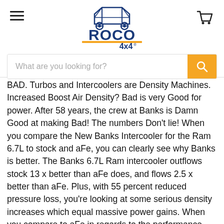ROCO 4x4 – site header with hamburger menu, logo, cart icon, and search bar
BAD. Turbos and Intercoolers are Density Machines. Increased Boost Air Density? Bad is very Good for power. After 58 years, the crew at Banks is Damn Good at making Bad! The numbers Don't lie! When you compare the New Banks Intercooler for the Ram 6.7L to stock and aFe, you can clearly see why Banks is better. The Banks 6.7L Ram intercooler outflows stock 13 x better than aFe does, and flows 2.5 x better than aFe. Plus, with 55 percent reduced pressure loss, you're looking at some serious density increases which equal massive power gains. When you compare to aFe in regards to the performance and then see that we do it for less, why would you buy anything other than Banks? Banks - Huge Performance Advantage and lower price! With the increased air density and reduced pressure drop, your